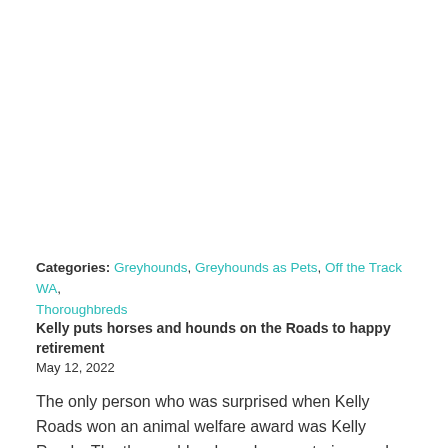Categories: Greyhounds, Greyhounds as Pets, Off the Track WA, Thoroughbreds
Kelly puts horses and hounds on the Roads to happy retirement
May 12, 2022
The only person who was surprised when Kelly Roads won an animal welfare award was Kelly Roads. The thoroughbred racehorse retrainer and serial greyhound